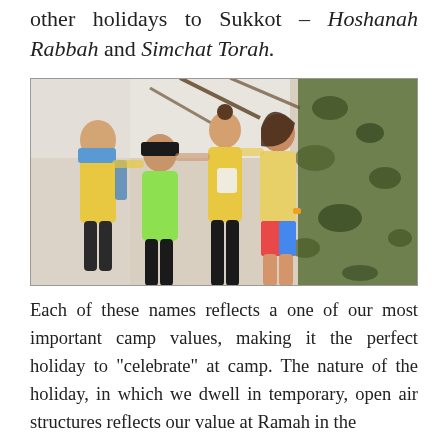other holidays to Sukkot – Hoshanah Rabbah and Simchat Torah.
[Figure (photo): Four people posing together inside what appears to be a sukkah or tent structure. Two wear yellow camp shirts, one wears a bright green shirt, and one wears a cap. There is camouflage netting visible on the right side.]
Each of these names reflects a one of our most important camp values, making it the perfect holiday to "celebrate" at camp. The nature of the holiday, in which we dwell in temporary, open air structures reflects our value at Ramah in the